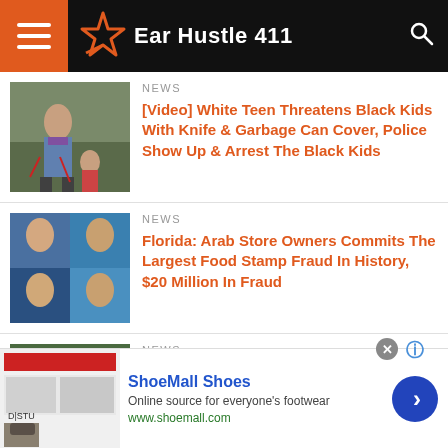Ear Hustle 411
NEWS
[Video] White Teen Threatens Black Kids With Knife & Garbage Can Cover, Police Show Up & Arrest The Black Kids
NEWS
Florida: Arab Store Owners Commits The Largest Food Stamp Fraud In History, $20 Million In Fraud
NEWS
[Video] Chicago Police Officers Caught On Video Telling Two Black Men "We
[Figure (screenshot): ShoeMall Shoes advertisement banner: shoe store website screenshot, blue circle arrow button, text 'Online source for everyone\'s footwear', url www.shoemall.com]